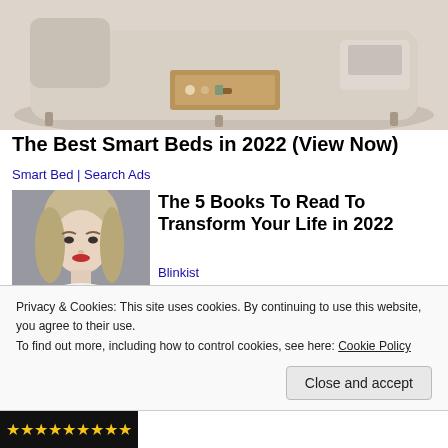[Figure (photo): Photo of a smart bed with storage drawer extended, beige/cream upholstery, viewed from above/front angle]
The Best Smart Beds in 2022 (View Now)
Smart Bed | Search Ads
[Figure (photo): Portrait photo of a blonde woman with makeup, wearing white]
The 5 Books To Read To Transform Your Life in 2022
Blinkist
Privacy & Cookies: This site uses cookies. By continuing to use this website, you agree to their use.
To find out more, including how to control cookies, see here: Cookie Policy
Close and accept
[Figure (photo): Bottom strip showing star ratings on dark background]